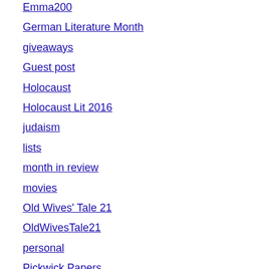Emma200
German Literature Month
giveaways
Guest post
Holocaust
Holocaust Lit 2016
judaism
lists
month in review
movies
Old Wives' Tale 21
OldWivesTale21
personal
Pickwick Papers
readalong
ReadingRhys